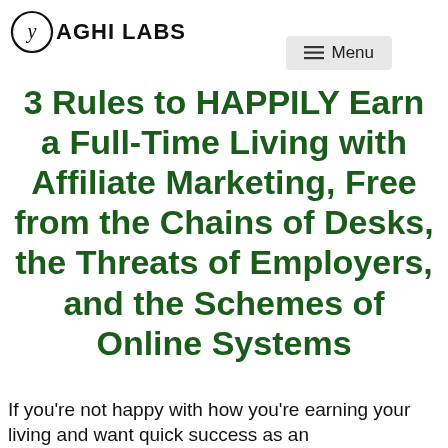YAGHI LABS
3 Rules to HAPPILY Earn a Full-Time Living with Affiliate Marketing, Free from the Chains of Desks, the Threats of Employers, and the Schemes of Online Systems
If you're not happy with how you're earning your living and want quick success as an